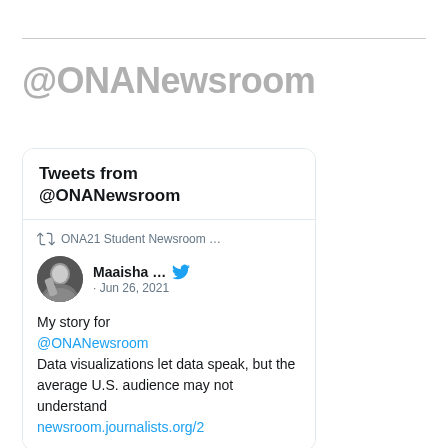@ONANewsroom
[Figure (screenshot): Embedded Twitter widget showing 'Tweets from @ONANewsroom'. Contains a retweet from ONA21 Student Newsroom, with a tweet by Maaisha dated Jun 26, 2021. Tweet text: 'My story for @ONANewsroom Data visualizations let data speak, but the average U.S. audience may not understand newsroom.journalists.org/2']